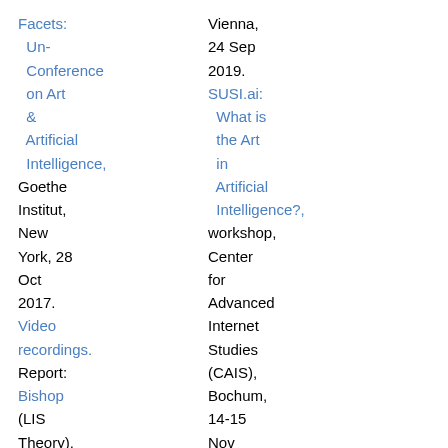Facets: Un-Conference on Art & Artificial Intelligence, Goethe Institut, New York, 28 Oct 2017. Video recordings. Report: Bishop (LIS Theory). First Workshop
Vienna, 24 Sep 2019. SUSI.ai: What is the Art in Artificial Intelligence?, workshop, Center for Advanced Internet Studies (CAIS), Bochum, 14-15 Nov 2019. Organised